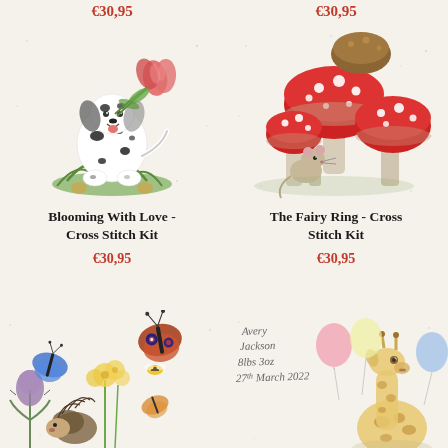€30,95
€30,95
[Figure (illustration): Watercolour illustration of a dalmatian dog holding a bunch of pink tulips in its mouth, with flowers scattered around its feet.]
[Figure (illustration): Watercolour illustration of red and white spotted toadstools/mushrooms with a small mouse hiding among the stems.]
Blooming With Love - Cross Stitch Kit
€30,95
The Fairy Ring - Cross Stitch Kit
€30,95
[Figure (illustration): Watercolour illustration of butterflies, a hedgehog, and wildflowers including thistles and yellow flowers.]
[Figure (illustration): Watercolour illustration of a giraffe with colourful balloons and handwritten text: Avery Jackson 8lbs 3oz 27th March 2022.]